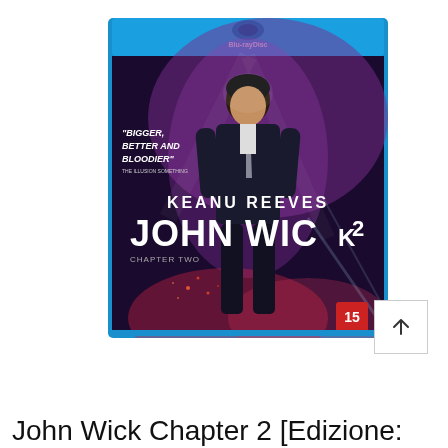[Figure (photo): John Wick Chapter 2 Blu-ray disc case cover. Features Keanu Reeves in a suit against a dark purple/red dramatic background. Text reads 'BIGGER, BETTER AND BLOODIER', 'KEANU REEVES', 'JOHN WICK 2'. Has Blu-ray logo at top and UK age rating 15 badge at bottom right. Blue plastic case.]
John Wick Chapter 2 [Edizione: